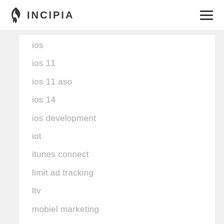INCIPIA
ios
ios 11
ios 11 aso
ios 14
ios development
iot
itunes connect
limit ad tracking
ltv
mobiel marketing
mobile action
mobile analytics
mobile marketing
monetization